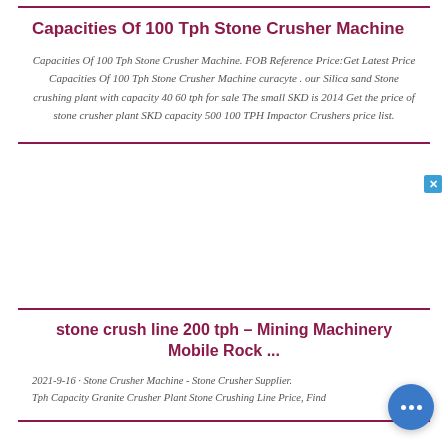Capacities Of 100 Tph Stone Crusher Machine
Capacities Of 100 Tph Stone Crusher Machine. FOB Reference Price:Get Latest Price Capacities Of 100 Tph Stone Crusher Machine curacyte . our Silica sand Stone crushing plant with capacity 40 60 tph for sale The small SKD is 2014 Get the price of stone crusher plant SKD capacity 500 100 TPH Impactor Crushers price list.
stone crush line 200 tph – Mining Machinery Mobile Rock ...
2021-9-16 · Stone Crusher Machine - Stone Crusher Supplier. Tph Capacity Granite Crusher Plant Stone Crushing Line Price, Find